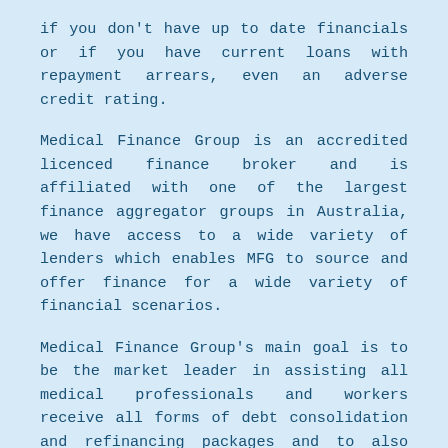if you don't have up to date financials or if you have current loans with repayment arrears, even an adverse credit rating.
Medical Finance Group is an accredited licenced finance broker and is affiliated with one of the largest finance aggregator groups in Australia, we have access to a wide variety of lenders which enables MFG to source and offer finance for a wide variety of financial scenarios.
Medical Finance Group's main goal is to be the market leader in assisting all medical professionals and workers receive all forms of debt consolidation and refinancing packages and to also help medical professionals and workers obtain the best financial products at the best available interest rates subject to their current and future financial requirements and needs.